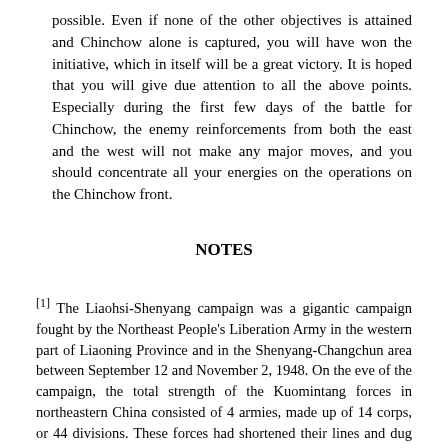possible. Even if none of the other objectives is attained and Chinchow alone is captured, you will have won the initiative, which in itself will be a great victory. It is hoped that you will give due attention to all the above points. Especially during the first few days of the battle for Chinchow, the enemy reinforcements from both the east and the west will not make any major moves, and you should concentrate all your energies on the operations on the Chinchow front.
NOTES
[1] The Liaohsi-Shenyang campaign was a gigantic campaign fought by the Northeast People's Liberation Army in the western part of Liaoning Province and in the Shenyang-Changchun area between September 12 and November 2, 1948. On the eve of the campaign, the total strength of the Kuomintang forces in northeastern China consisted of 4 armies, made up of 14 corps, or 44 divisions. These forces had shortened their lines and dug themselves in at three sectors isolated from each other, Changchun, Shenyang and Chinchow. With the aim of completely wiping out the